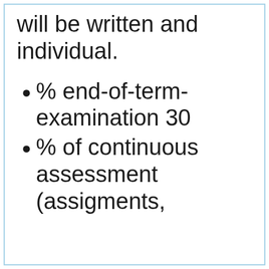will be written and individual.
% end-of-term-examination 30
% of continuous assessment (assigments,